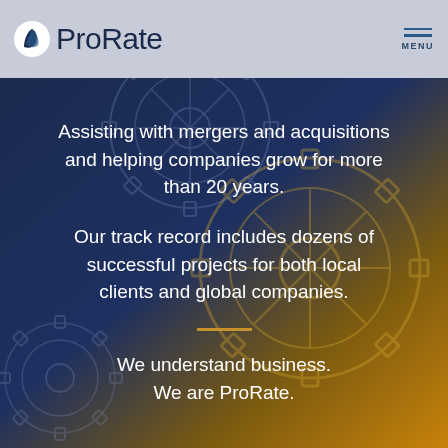[Figure (logo): ProRate company logo with leaf/flame icon and company name in dark blue on light gray header background]
[Figure (illustration): Navigation menu icon with two horizontal blue lines and MENU text label]
[Figure (illustration): Background image of interlocking gears in dark blue and gold/amber tones]
Assisting with mergers and acquisitions and helping companies grow for more than 20 years.
Our track record includes dozens of successful projects for both local clients and global companies.
We understand business. We are ProRate.